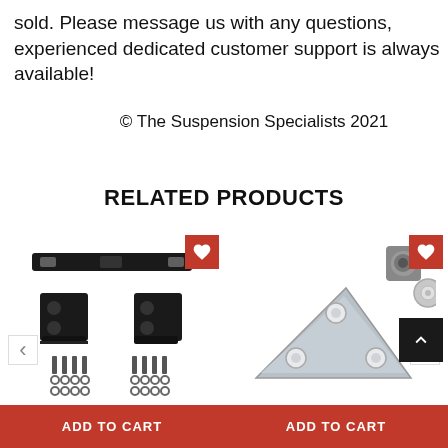sold. Please message us with any questions, experienced dedicated customer support is always available!
© The Suspension Specialists 2021
RELATED PRODUCTS
[Figure (photo): Black metal suspension bracket kit with mounting hardware, bolts, and washers. Red heart/wishlist button in top right corner. ADD TO CART red button at bottom.]
[Figure (photo): Silver/zinc triangular metal plate with holes, accompanied by a lock nut and washer. Red heart/wishlist button in top right corner. Black scroll-to-top button. ADD TO CART red button at bottom.]